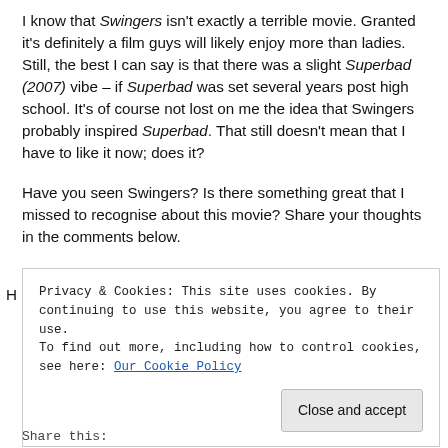I know that Swingers isn't exactly a terrible movie. Granted it's definitely a film guys will likely enjoy more than ladies. Still, the best I can say is that there was a slight Superbad (2007) vibe – if Superbad was set several years post high school. It's of course not lost on me the idea that Swingers probably inspired Superbad. That still doesn't mean that I have to like it now; does it?
Have you seen Swingers? Is there something great that I missed to recognise about this movie? Share your thoughts in the comments below.
Privacy & Cookies: This site uses cookies. By continuing to use this website, you agree to their use. To find out more, including how to control cookies, see here: Our Cookie Policy
Close and accept
Share this: